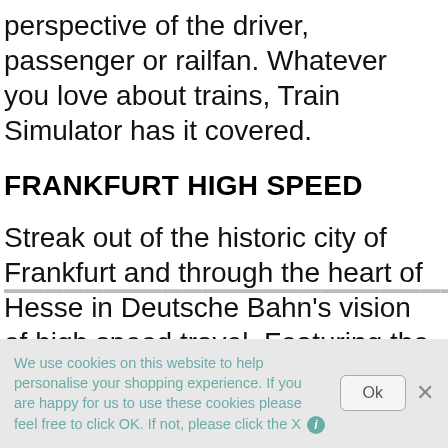perspective of the driver, passenger or railfan. Whatever you love about trains, Train Simulator has it covered.
FRANKFURT HIGH SPEED
Streak out of the historic city of Frankfurt and through the heart of Hesse in Deutsche Bahn's vision of high speed travel. Featuring the largest freight yard in Europe at
We use cookies on this website to help personalise your shopping experience. If you are happy for us to use these cookies please feel free to click OK. If not, please click the X
Ok
×